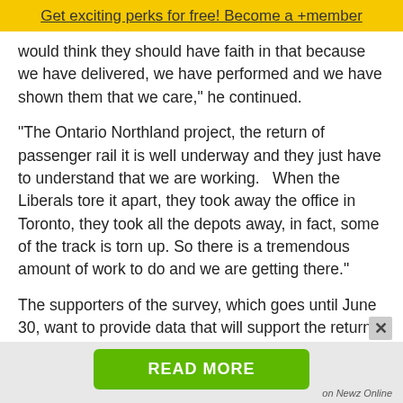Get exciting perks for free! Become a +member
would think they should have faith in that because we have delivered, we have performed and we have shown them that we care," he continued.
“The Ontario Northland project, the return of passenger rail it is well underway and they just have to understand that we are working.   When the Liberals tore it apart, they took away the office in Toronto, they took all the depots away, in fact, some of the track is torn up. So there is a tremendous amount of work to do and we are getting there.”
The supporters of the survey, which goes until June 30, want to provide data that will support the return of passenger rail between Toronto and Cochrane as
READ MORE
on Newz Online